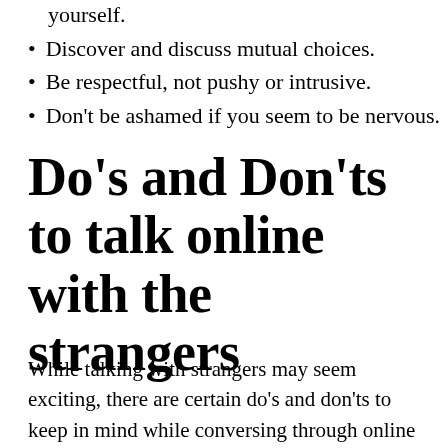Share the necessary information regarding yourself.
Discover and discuss mutual choices.
Be respectful, not pushy or intrusive.
Don't be ashamed if you seem to be nervous.
Do's and Don'ts to talk online with the strangers
While talking with strangers may seem exciting, there are certain do's and don'ts to keep in mind while conversing through online random chat rooms.